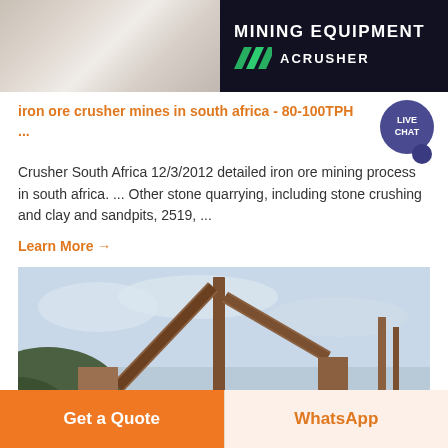[Figure (photo): Mining equipment banner image showing ACRUSHER brand with green chevron logo and sandy/rocky material on the left side]
iron ore crusher mines in south africa - 80-100TPH ...
Crusher South Africa 12/3/2012 detailed iron ore mining process in south africa. ... Other stone quarrying, including stone crushing and clay and sandpits, 2519, ...
Learn More →
[Figure (photo): Mining conveyor belt and crushing plant equipment against a cloudy sky with hills in the background]
Get a Quote
WhatsApp